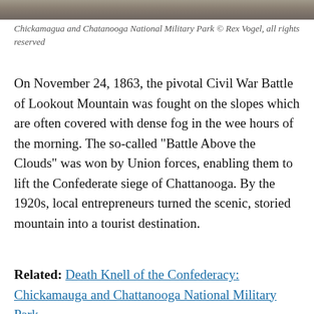[Figure (photo): Partial view of a rocky outdoor scene at Chickamauga and Chatanooga National Military Park]
Chickamagua and Chatanooga National Military Park © Rex Vogel, all rights reserved
On November 24, 1863, the pivotal Civil War Battle of Lookout Mountain was fought on the slopes which are often covered with dense fog in the wee hours of the morning. The so-called “Battle Above the Clouds” was won by Union forces, enabling them to lift the Confederate siege of Chattanooga. By the 1920s, local entrepreneurs turned the scenic, storied mountain into a tourist destination.
Related: Death Knell of the Confederacy: Chickamauga and Chattanooga National Military Park